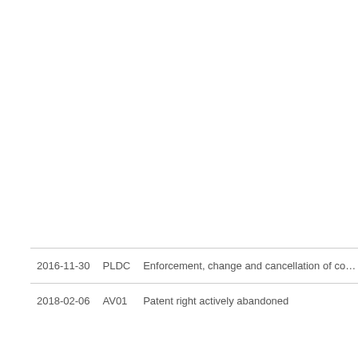| Date | Code | Description |
| --- | --- | --- |
| 2016-11-30 | PLDC | Enforcement, change and cancellation of co… |
| 2018-02-06 | AV01 | Patent right actively abandoned |